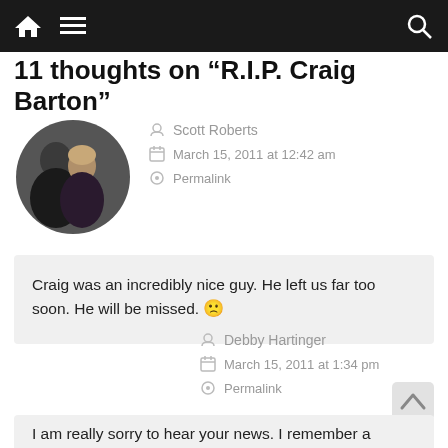Navigation bar with home, menu, and search icons
11 thoughts on “R.I.P. Craig Barton”
Scott Roberts
March 15, 2011 at 12:42 am
Permalink
Craig was an incredibly nice guy. He left us far too soon. He will be missed. 🙁
Debby Hartinger
March 15, 2011 at 1:34 pm
Permalink
I am really sorry to hear your news. I remember a